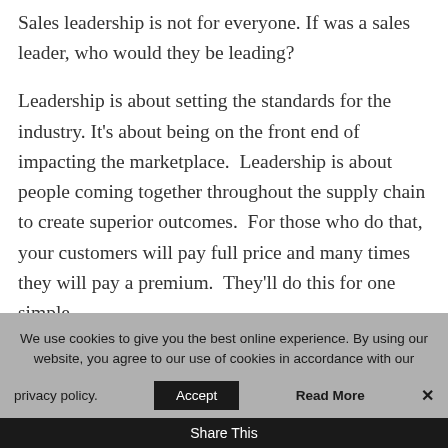Sales leadership is not for everyone. If was a sales leader, who would they be leading?
Leadership is about setting the standards for the industry. It's about being on the front end of impacting the marketplace.  Leadership is about people coming together throughout the supply chain to create superior outcomes.  For those who do that, your customers will pay full price and many times they will pay a premium.  They'll do this for one simple
We use cookies to give you the best online experience. By using our website, you agree to our use of cookies in accordance with our privacy policy.
Share This